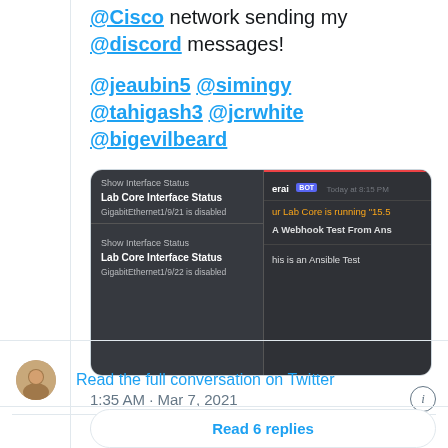@Cisco network sending my @discord messages!
@jeaubin5 @simingy @tahigash3 @jcrwhite @bigevilbeard
[Figure (screenshot): Screenshot showing two panels: left panel is a dark-themed network interface status UI showing 'Lab Core Interface Status' with GigabitEthernet1/9/21 and GigabitEthernet1/9/22 disabled; right panel is a Discord chat window showing a BOT message with 'Lab Core is running "15.5' and 'A Webhook Test From Ans' and 'his is an Ansible Test']
1:35 AM · Mar 7, 2021
Read the full conversation on Twitter
36  Reply  Copy link
Read 6 replies